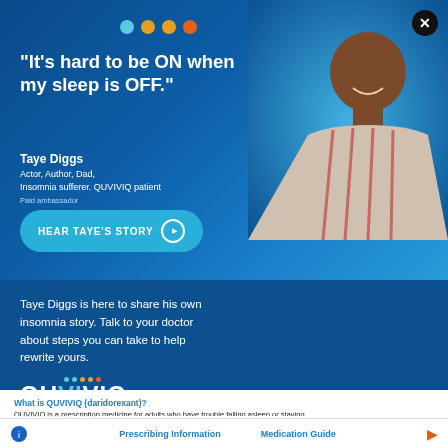[Figure (photo): Advertisement for QUVIVIQ (daridorexant) featuring Taye Diggs, smiling man in striped shirt on blue background with decorative dots]
“It’s hard to be ON when my sleep is OFF.”
Taye Diggs
Actor, Author, Dad,
Insomnia sufferer. QUVIVIQ patient
Paid ambassador
HEAR TAYE’S STORY
Taye Diggs is here to share his own insomnia story. Talk to your doctor about steps you can take to help rewrite yours.
[Figure (logo): QUVIVIQ (daridorexant) logo with decorative colored dots and registered trademark]
What is QUVIVIQ (daridorexant)?
QUVIVIQ is a prescription medicine for adults who have trouble falling asleep or staying asleep (insomnia).
Important Safety Information
Do not take QUVIVIQ if you fall asleep often at unexpected times (narcolepsy).
QUVIVIQ may cause serious side effects, including:
Decreased awareness and alertness. The morning after you take QUVIVIQ, your ability to drive safely and think clearly may be decreased. You may also have sleepiness during the day.
Do not take more QUVIVIQ than prescribed.
Prescribing Information   Medication Guide